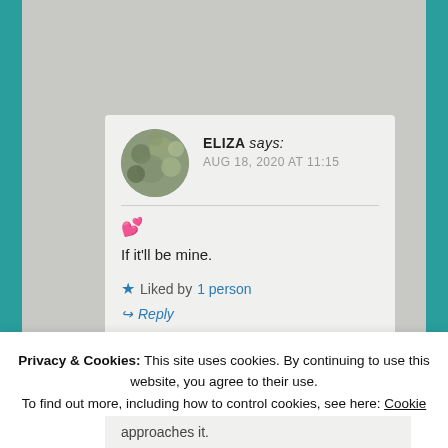ELIZA says:
AUG 18, 2020 AT 11:15
💕
If it'll be mine.
★ Liked by 1 person
⤷ Reply
Privacy & Cookies: This site uses cookies. By continuing to use this website, you agree to their use.
To find out more, including how to control cookies, see here: Cookie Policy
Close and accept
approaches it.